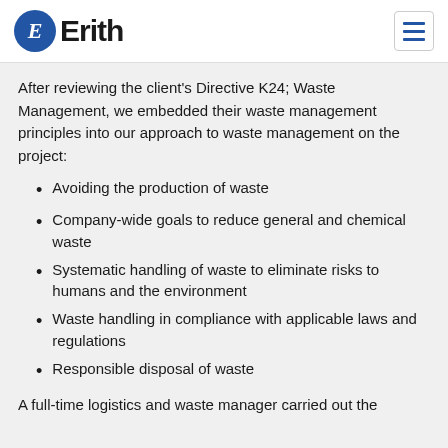Erith
After reviewing the client's Directive K24; Waste Management, we embedded their waste management principles into our approach to waste management on the project:
Avoiding the production of waste
Company-wide goals to reduce general and chemical waste
Systematic handling of waste to eliminate risks to humans and the environment
Waste handling in compliance with applicable laws and regulations
Responsible disposal of waste
A full-time logistics and waste manager carried out the